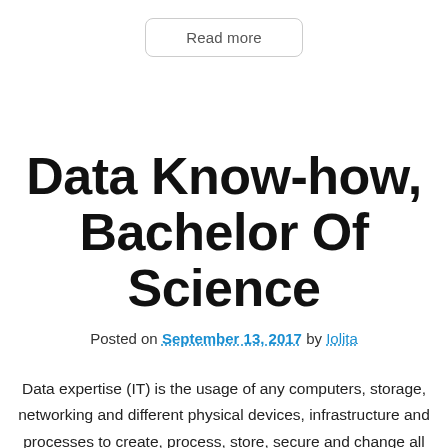Read more
Data Know-how, Bachelor Of Science
Posted on September 13, 2017 by Iolita
Data expertise (IT) is the usage of any computers, storage, networking and different physical devices, infrastructure and processes to create, process, store, secure and change all forms of digital information. Modern day expertise is quick, complex, and completely needed for the growth, stabilization